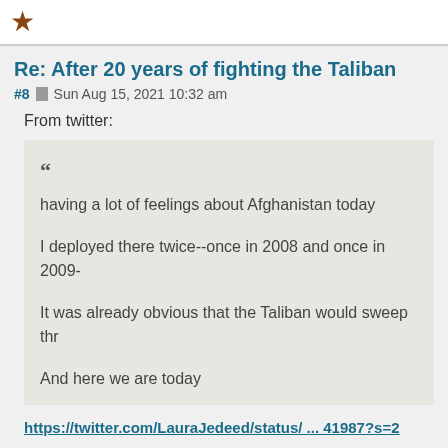[Figure (logo): Brown/gold star icon in top-left corner]
Re: After 20 years of fighting the Taliban
#8  Sun Aug 15, 2021 10:32 am
From twitter:
“
having a lot of feelings about Afghanistan today

I deployed there twice--once in 2008 and once in 2009-

It was already obvious that the Taliban would sweep thr

And here we are today
https://twitter.com/LauraJedeed/status/ ... 41987?s=2